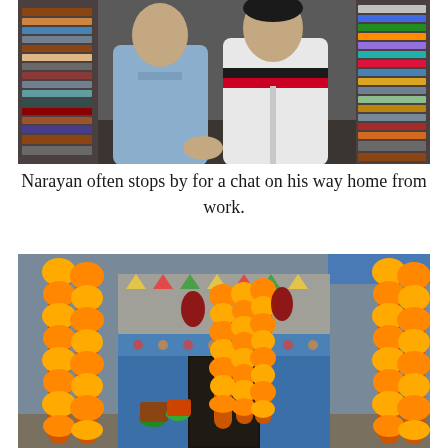[Figure (photo): Two men standing together inside a fabric shop with colorful stacked fabrics on shelves behind them. One man wears a light blue shirt, the other wears a white jacket with black and red stripes.]
Narayan often stops by for a chat on his way home from work.
[Figure (photo): A flower shop storefront with large hanging garlands of orange marigold flowers framing the entrance. The shop has a blue painted facade and various potted plants and flowers displayed outside.]